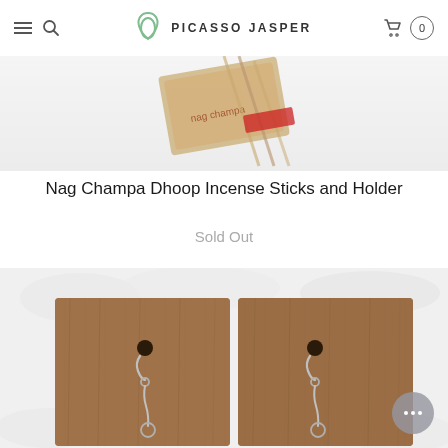PICASSO JASPER
[Figure (photo): Partial view of Nag Champa Dhoop Incense Sticks product photo — cardboard packaged incense sticks on white background]
Nag Champa Dhoop Incense Sticks and Holder
Sold Out
[Figure (photo): Silver earrings displayed on a wooden display card resting on white fluffy fabric background]